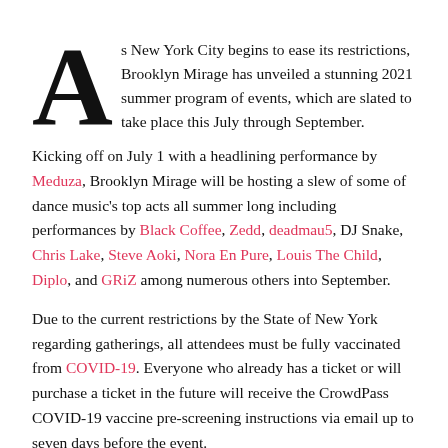As New York City begins to ease its restrictions, Brooklyn Mirage has unveiled a stunning 2021 summer program of events, which are slated to take place this July through September.
Kicking off on July 1 with a headlining performance by Meduza, Brooklyn Mirage will be hosting a slew of some of dance music's top acts all summer long including performances by Black Coffee, Zedd, deadmau5, DJ Snake, Chris Lake, Steve Aoki, Nora En Pure, Louis The Child, Diplo, and GRiZ among numerous others into September.
Due to the current restrictions by the State of New York regarding gatherings, all attendees must be fully vaccinated from COVID-19. Everyone who already has a ticket or will purchase a ticket in the future will receive the CrowdPass COVID-19 vaccine pre-screening instructions via email up to seven days before the event.